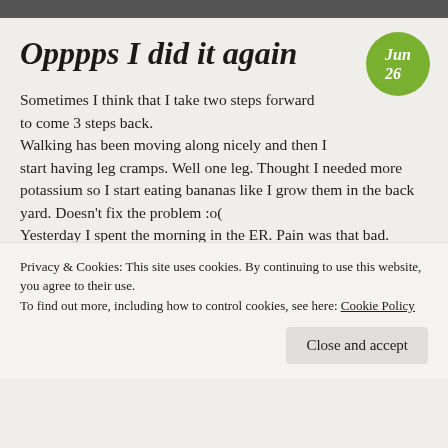Opppps I did it again
Sometimes I think that I take two steps forward to come 3 steps back.
Walking has been moving along nicely and then I start having leg cramps. Well one leg. Thought I needed more potassium so I start eating bananas like I grow them in the back yard. Doesn't fix the problem :o(
Yesterday I spent the morning in the ER. Pain was that bad.
[Figure (photo): Two side-by-side photos inside a blog post showing interior/room scenes]
Privacy & Cookies: This site uses cookies. By continuing to use this website, you agree to their use.
To find out more, including how to control cookies, see here: Cookie Policy